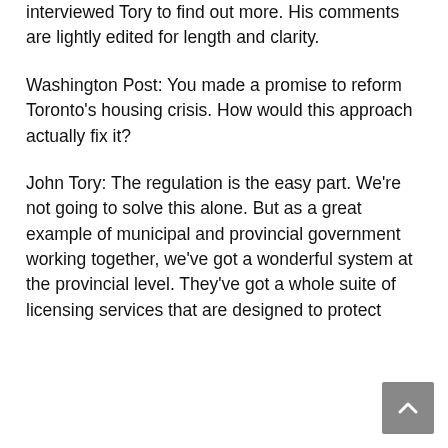interviewed Tory to find out more. His comments are lightly edited for length and clarity.
Washington Post: You made a promise to reform Toronto's housing crisis. How would this approach actually fix it?
John Tory: The regulation is the easy part. We're not going to solve this alone. But as a great example of municipal and provincial government working together, we've got a wonderful system at the provincial level. They've got a whole suite of licensing services that are designed to protect